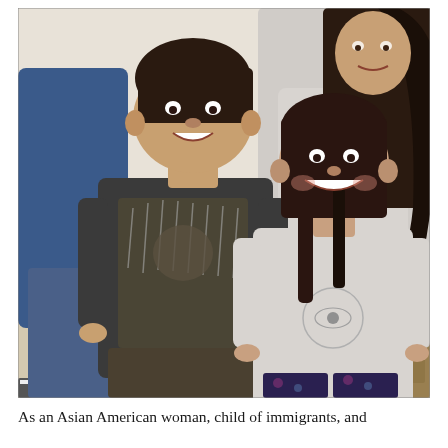[Figure (photo): A family photo showing four people standing together indoors. In the front are two children: a boy on the left wearing a dark graphic t-shirt with a lion/rain design and dark pants, and a girl on the right wearing a light grey long-sleeve shirt with a mandala/eye design and dark patterned leggings. Both children are smiling. Behind them stand two adults; the adult on the left is partially visible wearing a blue sweater and jeans, and the adult on the right is a woman with long dark wavy hair wearing a light grey top. The background shows a beige/tan floor and some furniture and decorations.]
As an Asian American woman, child of immigrants, and